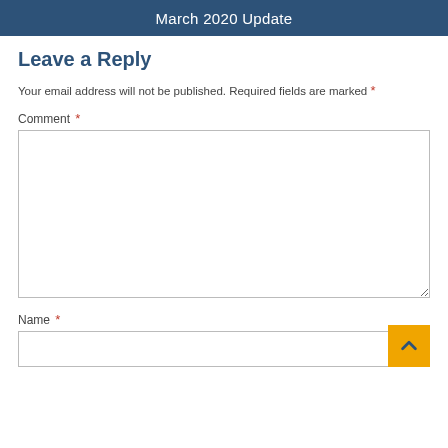March 2020 Update
Leave a Reply
Your email address will not be published. Required fields are marked *
Comment *
Name *